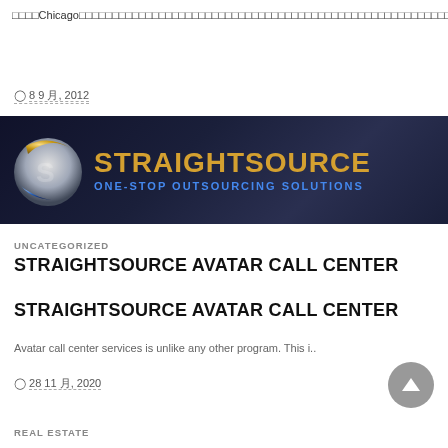□□□□Chicago□□□□□□□□□□□□□□□□□□□□□□□□□□□□□□□□□□□□□□□□□□□□□□□□□□□□□□□□□□□□□□□□□□□□□□□□□□□□□□□□□..
8 9 月, 2012
[Figure (logo): StraightSource logo banner with globe icon, gold text STRAIGHTSOURCE, blue text ONE-STOP OUTSOURCING SOLUTIONS on dark navy background]
UNCATEGORIZED
STRAIGHTSOURCE AVATAR CALL CENTER
STRAIGHTSOURCE AVATAR CALL CENTER
Avatar call center services is unlike any other program. This i..
28 11 月, 2020
REAL ESTATE